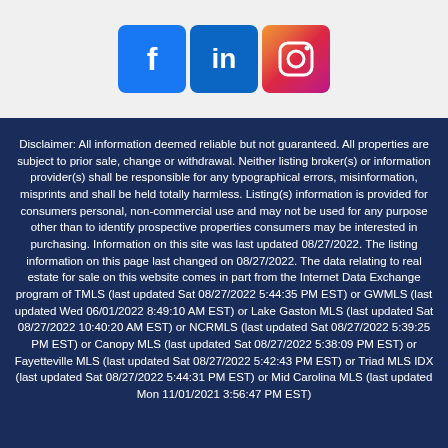[Figure (logo): Social media icons: Facebook (blue F), LinkedIn (blue 'in'), Instagram (gradient camera/circle icon)]
Disclaimer: All information deemed reliable but not guaranteed. All properties are subject to prior sale, change or withdrawal. Neither listing broker(s) or information provider(s) shall be responsible for any typographical errors, misinformation, misprints and shall be held totally harmless. Listing(s) information is provided for consumers personal, non-commercial use and may not be used for any purpose other than to identify prospective properties consumers may be interested in purchasing. Information on this site was last updated 08/27/2022. The listing information on this page last changed on 08/27/2022. The data relating to real estate for sale on this website comes in part from the Internet Data Exchange program of TMLS (last updated Sat 08/27/2022 5:44:35 PM EST) or GWMLS (last updated Wed 06/01/2022 8:49:10 AM EST) or Lake Gaston MLS (last updated Sat 08/27/2022 10:40:20 AM EST) or NCRMLS (last updated Sat 08/27/2022 5:39:25 PM EST) or Canopy MLS (last updated Sat 08/27/2022 5:38:09 PM EST) or Fayetteville MLS (last updated Sat 08/27/2022 5:42:43 PM EST) or Triad MLS IDX (last updated Sat 08/27/2022 5:44:31 PM EST) or Mid Carolina MLS (last updated Mon 11/01/2021 3:56:47 PM EST)